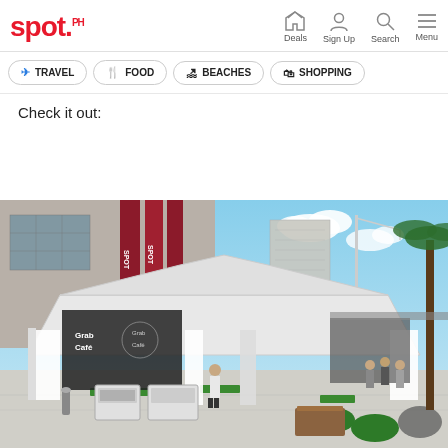spot.ph — Deals, Sign Up, Search, Menu
TRAVEL
FOOD
BEACHES
SHOPPING
Check it out:
[Figure (photo): Outdoor photo of Grab Café pop-up tent with white drapes and green furniture, set up outside a shopping mall in an urban area with buildings in the background under a blue sky.]